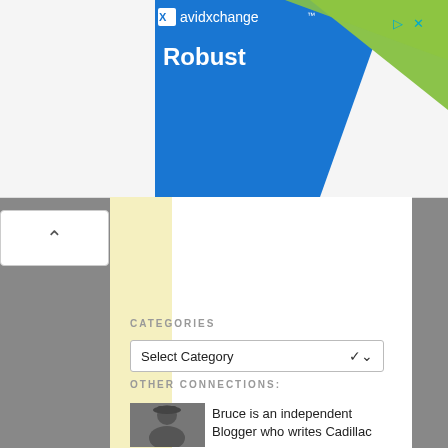[Figure (screenshot): AvidXchange advertisement banner with blue and green geometric shapes and 'Robust' text in white]
[Figure (screenshot): Yellow highlighted sidebar ad columns flanking white content area with scroll-up button]
CATEGORIES
Select Category
OTHER CONNECTIONS:
Bruce is an independent Blogger who writes Cadillac